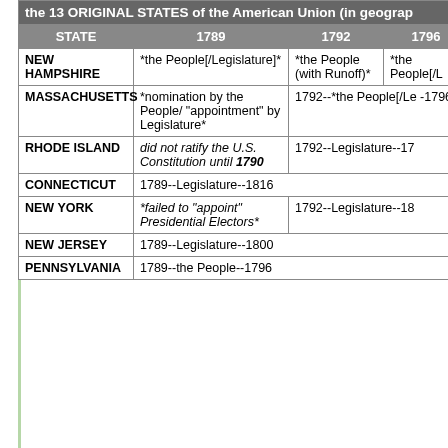| STATE | 1789 | 1792 | 1796 |
| --- | --- | --- | --- |
| NEW HAMPSHIRE | *the People[/Legislature]* | *the People (with Runoff)* | *the People[/L... |
| MASSACHUSETTS | *nomination by the People/ "appointment" by Legislature* | 1792--*the People[/Le... -1796 |  |
| RHODE ISLAND | did not ratify the U.S. Constitution until 1790 | 1792--Legislature--17... |  |
| CONNECTICUT | 1789--Legislature--1816 |  |  |
| NEW YORK | *failed to "appoint" Presidential Electors* | 1792--Legislature--18... |  |
| NEW JERSEY | 1789--Legislature--1800 |  |  |
| PENNSYLVANIA | 1789--the People--1796 |  |  |